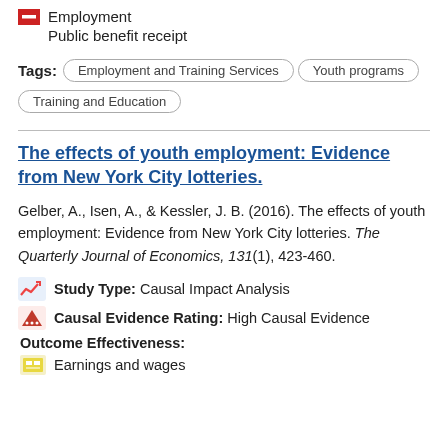Employment
Public benefit receipt
Tags: Employment and Training Services   Youth programs   Training and Education
The effects of youth employment: Evidence from New York City lotteries.
Gelber, A., Isen, A., & Kessler, J. B. (2016). The effects of youth employment: Evidence from New York City lotteries. The Quarterly Journal of Economics, 131(1), 423-460.
Study Type: Causal Impact Analysis
Causal Evidence Rating: High Causal Evidence
Outcome Effectiveness:
Earnings and wages